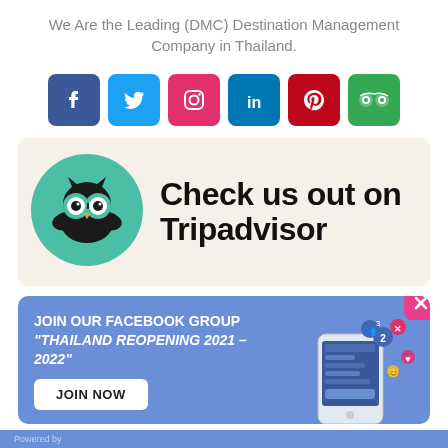We Are the Leading (DMC) Destination Management Company in Thailand.
[Figure (infographic): Six social media icons in colored rounded squares: Facebook (blue), Twitter (light blue), Instagram (red/pink), LinkedIn (blue), Pinterest (dark red), TripAdvisor (green)]
[Figure (infographic): TripAdvisor promotional banner with owl logo on teal circle and text 'Check us out on Tripadvisor' on beige background]
[Figure (infographic): Facebook group promo banner in blue: 'JOIN OUR FACEBOOK GROUP THAILAND REOPENING 2021-2022' with JOIN NOW button and phone graphic with social notification icons. Has a pink X close button.]